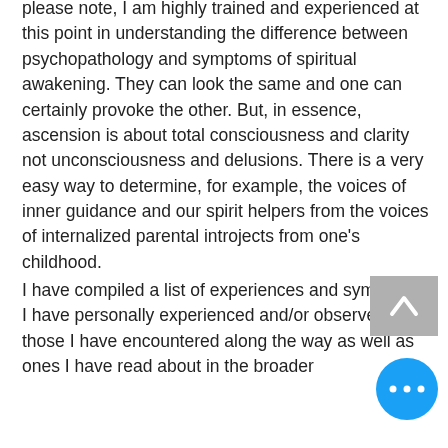please note, I am highly trained and experienced at this point in understanding the difference between psychopathology and symptoms of spiritual awakening. They can look the same and one can certainly provoke the other. But, in essence, ascension is about total consciousness and clarity not unconsciousness and delusions. There is a very easy way to determine, for example, the voices of inner guidance and our spirit helpers from the voices of internalized parental introjects from one's childhood.

I have compiled a list of experiences and symptoms I have personally experienced and/or observed in all those I have encountered along the way as well as ones I have read about in the broader